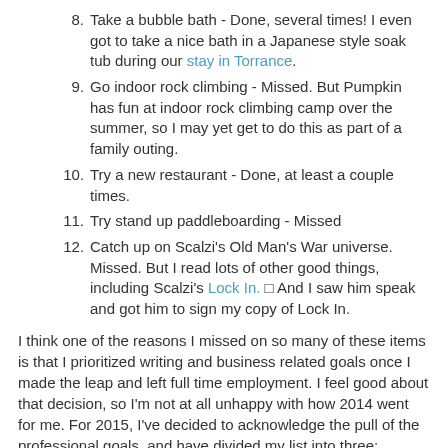8. Take a bubble bath - Done, several times! I even got to take a nice bath in a Japanese style soak tub during our stay in Torrance.
9. Go indoor rock climbing - Missed. But Pumpkin has fun at indoor rock climbing camp over the summer, so I may yet get to do this as part of a family outing.
10. Try a new restaurant - Done, at least a couple times.
11. Try stand up paddleboarding - Missed
12. Catch up on Scalzi's Old Man's War universe. Missed. But I read lots of other good things, including Scalzi's Lock In.  And I saw him speak and got him to sign my copy of Lock In.
I think one of the reasons I missed on so many of these items is that I prioritized writing and business related goals once I made the leap and left full time employment. I feel good about that decision, so I'm not at all unhappy with how 2014 went for me. For 2015, I've decided to acknowledge the pull of the professional goals, and have divided my list into three: personal, writing, and business. I'll talk about the personal and writing goals here, but will only list my business goals. I'll write a separate post about those on my business blog.